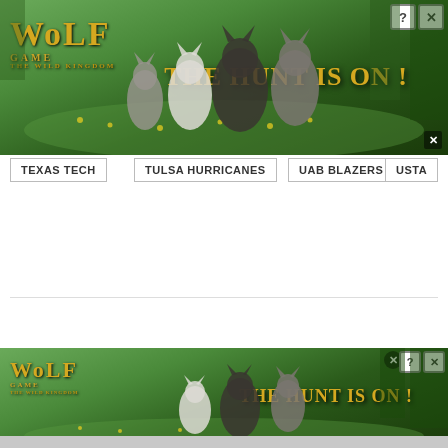[Figure (screenshot): Wolf Game: The Wild Kingdom advertisement banner with wolves in a meadow and text 'THE HUNT IS ON!']
TEXAS TECH
TULSA HURRICANES
UAB BLAZERS
USTA
[Figure (screenshot): Facebook Like button showing thumbs up icon and 'Like 1']
Sports Talk Florida
[Figure (screenshot): Wolf Game: The Wild Kingdom sticky bottom advertisement banner with wolves in a meadow and text 'THE HUNT IS ON!']